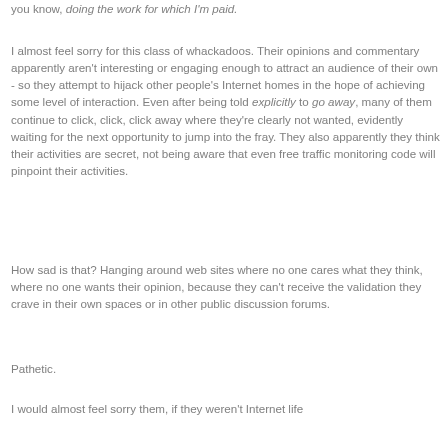you know, doing the work for which I'm paid.
I almost feel sorry for this class of whackadoos. Their opinions and commentary apparently aren't interesting or engaging enough to attract an audience of their own - so they attempt to hijack other people's Internet homes in the hope of achieving some level of interaction. Even after being told explicitly to go away, many of them continue to click, click, click away where they're clearly not wanted, evidently waiting for the next opportunity to jump into the fray. They also apparently they think their activities are secret, not being aware that even free traffic monitoring code will pinpoint their activities.
How sad is that? Hanging around web sites where no one cares what they think, where no one wants their opinion, because they can't receive the validation they crave in their own spaces or in other public discussion forums.
Pathetic.
I would almost feel sorry them, if they weren't Internet life